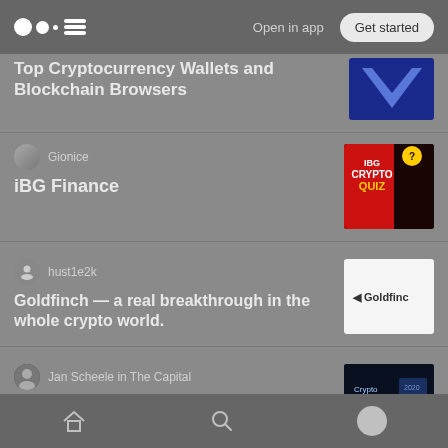Open in app | Get started
Top Cryptocurrency Wallets and Blockchain Browsers
Gionice
iBG Finance
hust1e2k
Goldfinch — a real breakthrough in the whole crypto world.
Jan Scheele in The Capital
Blockchain in 2020: FOMO Solutions, Impact Stories, CryptoYen, and Other Exciting Developments to...
Home | Search | Profile